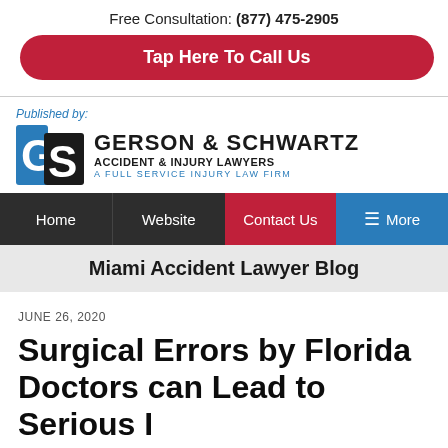Free Consultation: (877) 475-2905
Tap Here To Call Us
[Figure (logo): Gerson & Schwartz Accident & Injury Lawyers logo with GS monogram icon. Published by label above.]
Home | Website | Contact Us | More
Miami Accident Lawyer Blog
JUNE 26, 2020
Surgical Errors by Florida Doctors can Lead to Serious Injuries